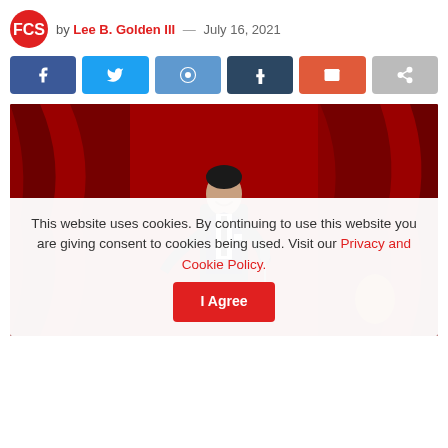by Lee B. Golden III — July 16, 2021
[Figure (other): Row of social share buttons: Facebook, Twitter, Reddit, Tumblr, Email, Share]
[Figure (photo): A man in a dark suit holding a microphone and performing on stage in front of red curtains]
This website uses cookies. By continuing to use this website you are giving consent to cookies being used. Visit our Privacy and Cookie Policy.